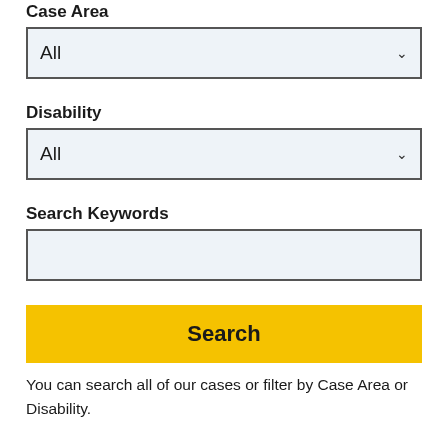Case Area
[Figure (screenshot): Dropdown select box showing 'All' with a down chevron, light blue background, dark border]
Disability
[Figure (screenshot): Dropdown select box showing 'All' with a down chevron, light blue background, dark border]
Search Keywords
[Figure (screenshot): Empty text input field with light blue background and dark border]
[Figure (screenshot): Yellow Search button with bold black text 'Search']
You can search all of our cases or filter by Case Area or Disability.